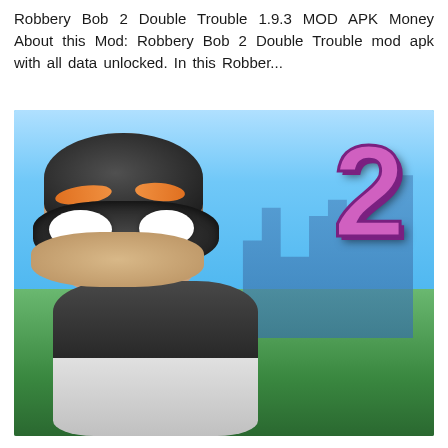Robbery Bob 2 Double Trouble 1.9.3 MOD APK Money About this Mod: Robbery Bob 2 Double Trouble mod apk with all data unlocked. In this Robber...
[Figure (illustration): Game cover art for Robbery Bob 2 Double Trouble showing a cartoon burglar character wearing a black mask and striped outfit with a large pink/purple number 2 in the background, set against a sky and green landscape backdrop.]